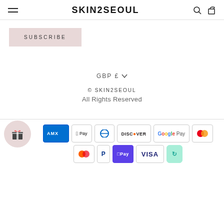SKIN2SEOUL
SUBSCRIBE
GBP £
© SKIN2SEOUL
All Rights Reserved
[Figure (logo): Payment method icons: Amex, Apple Pay, Diners Club, Discover, Google Pay, Mastercard (two variants), PayPal, OPay, Visa, cashback/redirect badge]
[Figure (illustration): Gift box icon in a circular pink/rose button]